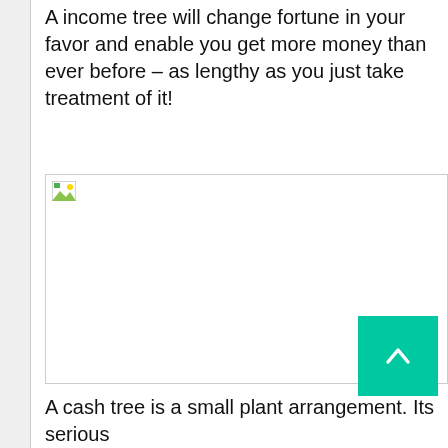A income tree will change fortune in your favor and enable you get more money than ever before – as lengthy as you just take treatment of it!
[Figure (photo): Broken/missing image placeholder with small landscape icon in top-left corner]
A cash tree is a small plant arrangement. Its serious